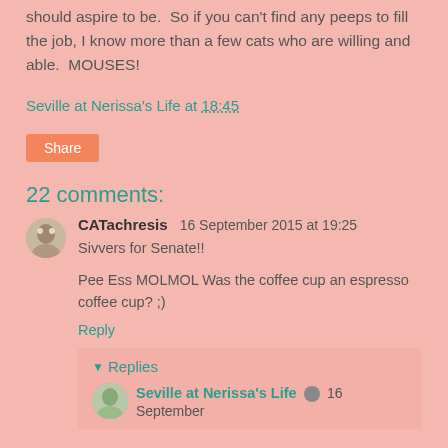should aspire to be.  So if you can't find any peeps to fill the job, I know more than a few cats who are willing and able.  MOUSES!
Seville at Nerissa's Life at 18:45
Share
22 comments:
CATachresis 16 September 2015 at 19:25
Sivvers for Senate!!
Pee Ess MOLMOL Was the coffee cup an espresso coffee cup? ;)
Reply
▼ Replies
Seville at Nerissa's Life  16 September